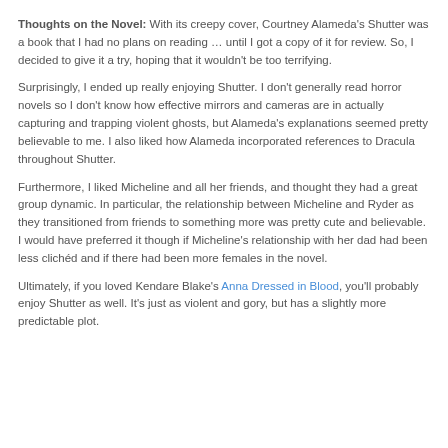Thoughts on the Novel: With its creepy cover, Courtney Alameda's Shutter was a book that I had no plans on reading … until I got a copy of it for review. So, I decided to give it a try, hoping that it wouldn't be too terrifying.
Surprisingly, I ended up really enjoying Shutter. I don't generally read horror novels so I don't know how effective mirrors and cameras are in actually capturing and trapping violent ghosts, but Alameda's explanations seemed pretty believable to me. I also liked how Alameda incorporated references to Dracula throughout Shutter.
Furthermore, I liked Micheline and all her friends, and thought they had a great group dynamic. In particular, the relationship between Micheline and Ryder as they transitioned from friends to something more was pretty cute and believable. I would have preferred it though if Micheline's relationship with her dad had been less clichéd and if there had been more females in the novel.
Ultimately, if you loved Kendare Blake's Anna Dressed in Blood, you'll probably enjoy Shutter as well. It's just as violent and gory, but has a slightly more predictable plot.